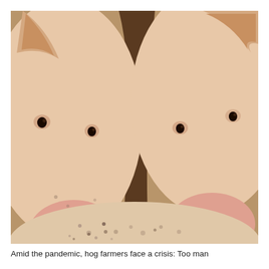[Figure (photo): Close-up photograph of two pigs facing the camera, their pink snouts visible in the foreground with a third pig's back forming a curved mound in the lower center of the frame. The pigs have pink skin with sparse hair and small dark eyes.]
Amid the pandemic, hog farmers face a crisis: Too man